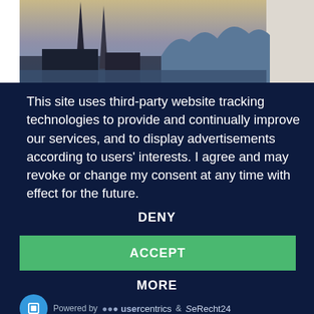[Figure (photo): Top portion of a webpage showing a city skyline with church spires and a wave-shaped building (Elbphilharmonie) against an evening sky, partially cropped]
This site uses third-party website tracking technologies to provide and continually improve our services, and to display advertisements according to users' interests. I agree and may revoke or change my consent at any time with effect for the future.
DENY
ACCEPT
MORE
Powered by usercentrics & eRecht24